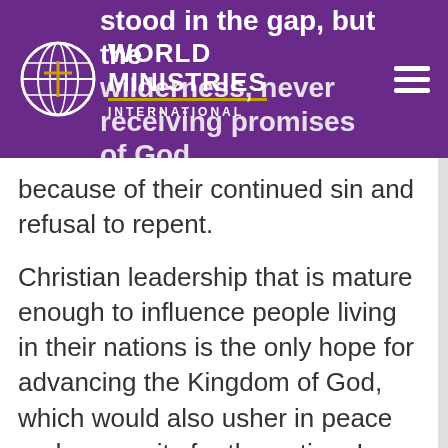World Ministries International
stood in the gap, but the wilderness, never receiving promises of God because of their continued sin and refusal to repent.
Christian leadership that is mature enough to influence people living in their nations is the only hope for advancing the Kingdom of God, which would also usher in peace and prosperity for the nation. In every nation on Earth, however, there are traitors working with the world elitists whose goal is to destroy their nation's sovereignty by causing the failure of their nation's economy through the ruination of free capitalism. Then they will promote a One World Currency